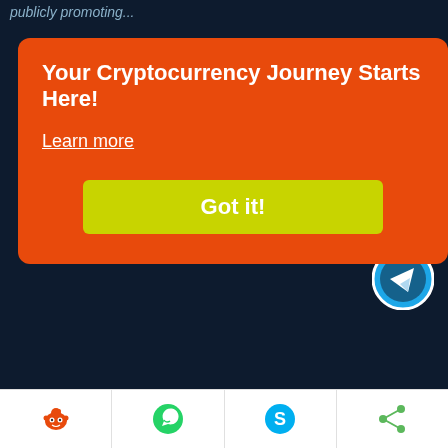publicly promoting...
Your Cryptocurrency Journey Starts Here!
Learn more
Got it!
LITECOIN
BINANCE
RIPPLE
STELLAR
CARDANO
DOGECOIN
GIFA Token
FINTECH
BLOCKCHAIN
MINING
PRICES
MARKET
ANALYSIS
ARTICLES
EXCHANGES
CHARTS
[Figure (logo): Telegram messenger button icon (white arrow in blue circle)]
[Figure (infographic): Bottom share bar with Reddit (orange alien), WhatsApp (green chat), Skype (blue S), and share (green dots) icons]